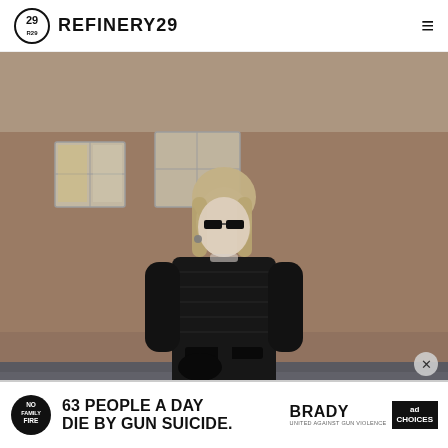REFINERY29
[Figure (photo): Street style photo of a young blonde woman wearing all-black outfit including black sunglasses, black quilted/leather jacket with belt, photographed outdoors with brick building background]
[Figure (infographic): Advertisement banner: No Family Fire logo circle, text '63 PEOPLE A DAY DIE BY GUN SUICIDE.' with Brady and ad logos on right side]